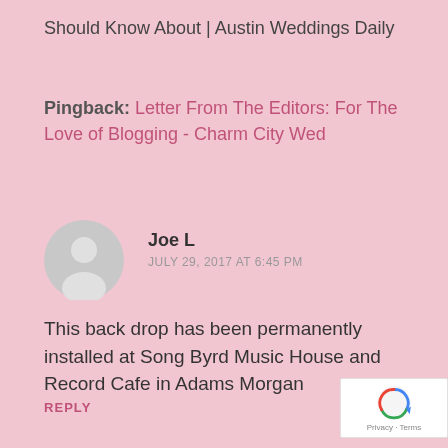Should Know About | Austin Weddings Daily
Pingback: Letter From The Editors: For The Love of Blogging - Charm City Wed
Joe L
JULY 29, 2017 AT 6:45 PM
This back drop has been permanently installed at Song Byrd Music House and Record Cafe in Adams Morgan
REPLY